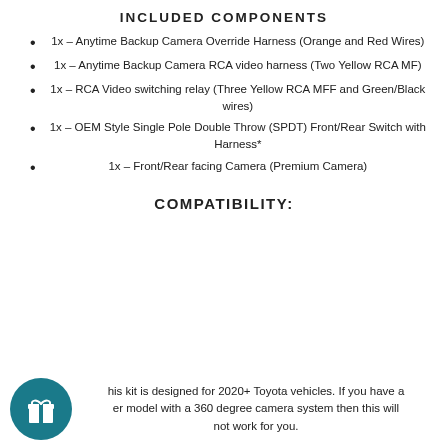INCLUDED COMPONENTS
1x – Anytime Backup Camera Override Harness (Orange and Red Wires)
1x – Anytime Backup Camera RCA video harness (Two Yellow RCA MF)
1x – RCA Video switching relay (Three Yellow RCA MFF and Green/Black wires)
1x – OEM Style Single Pole Double Throw (SPDT) Front/Rear Switch with Harness*
1x – Front/Rear facing Camera (Premium Camera)
COMPATIBILITY:
This kit is designed for 2020+ Toyota vehicles.  If you have a newer model with a 360 degree camera system then this will not work for you.